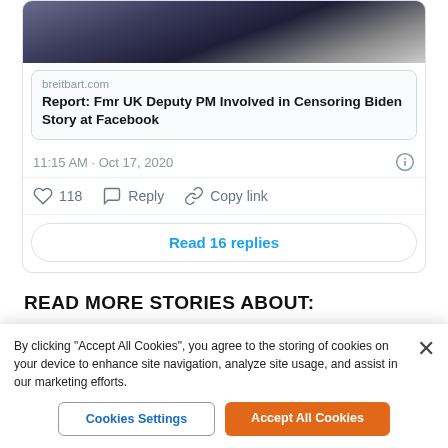[Figure (screenshot): Screenshot of a tweet showing a link preview to a Breitbart article with an image of two men in suits at a formal setting]
breitbart.com
Report: Fmr UK Deputy PM Involved in Censoring Biden Story at Facebook
11:15 AM · Oct 17, 2020
118  Reply  Copy link
Read 16 replies
READ MORE STORIES ABOUT:
By clicking "Accept All Cookies", you agree to the storing of cookies on your device to enhance site navigation, analyze site usage, and assist in our marketing efforts.
Cookies Settings
Accept All Cookies